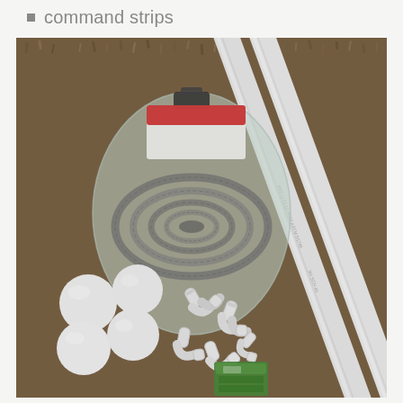command strips
[Figure (photo): Photo of craft/DIY supplies laid out on a brown shaggy carpet: a plastic bag containing a coiled grey corrugated hose/tube, several white foam or plastic balls, multiple white PVC elbow pipe fittings, a small green package, and two white PVC pipes leaning diagonally.]